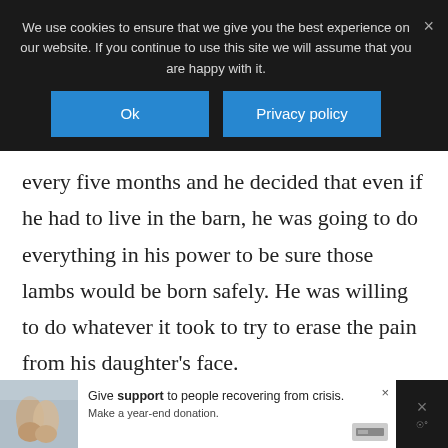We use cookies to ensure that we give you the best experience on our website. If you continue to use this site we will assume that you are happy with it.
[Figure (screenshot): Cookie consent banner with Ok and Privacy policy buttons on dark background]
every five months and he decided that even if he had to live in the barn, he was going to do everything in his power to be sure those lambs would be born safely. He was willing to do whatever it took to try to erase the pain from his daughter’s face.
[Figure (screenshot): Advertisement banner at the bottom showing hands and text: Give support to people recovering from crisis. Make a year-end donation.]